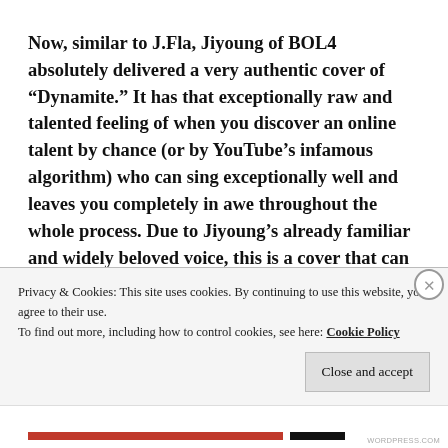Now, similar to J.Fla, Jiyoung of BOL4 absolutely delivered a very authentic cover of “Dynamite.” It has that exceptionally raw and talented feeling of when you discover an online talent by chance (or by YouTube’s infamous algorithm) who can sing exceptionally well and leaves you completely in awe throughout the whole process. Due to Jiyoung’s already familiar and widely beloved voice, this is a cover that can easily provide tran quility and gratifying feelings as you chill out to the
Privacy & Cookies: This site uses cookies. By continuing to use this website, you agree to their use.
To find out more, including how to control cookies, see here: Cookie Policy
Close and accept